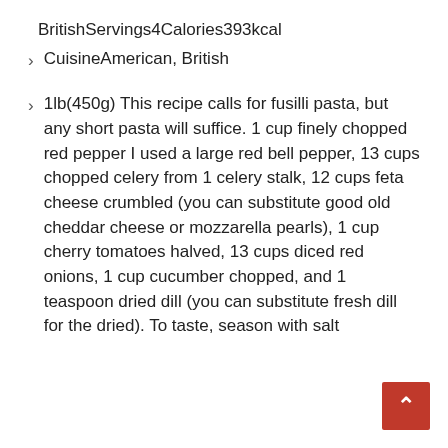BritishServings4Calories393kcal
CuisineAmerican, British
1lb(450g) This recipe calls for fusilli pasta, but any short pasta will suffice. 1 cup finely chopped red pepper I used a large red bell pepper, 13 cups chopped celery from 1 celery stalk, 12 cups feta cheese crumbled (you can substitute good old cheddar cheese or mozzarella pearls), 1 cup cherry tomatoes halved, 13 cups diced red onions, 1 cup cucumber chopped, and 1 teaspoon dried dill (you can substitute fresh dill for the dried). To taste, season with salt